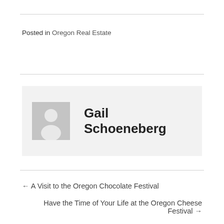Posted in Oregon Real Estate
[Figure (illustration): Author avatar placeholder with generic person silhouette on grey background, next to author name Gail Schoeneberg]
Gail Schoeneberg
← A Visit to the Oregon Chocolate Festival
Have the Time of Your Life at the Oregon Cheese Festival →